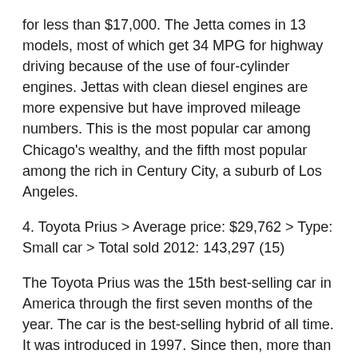for less than $17,000. The Jetta comes in 13 models, most of which get 34 MPG for highway driving because of the use of four-cylinder engines. Jettas with clean diesel engines are more expensive but have improved mileage numbers. This is the most popular car among Chicago's wealthy, and the fifth most popular among the rich in Century City, a suburb of Los Angeles.
4. Toyota Prius > Average price: $29,762 > Type: Small car > Total sold 2012: 143,297 (15)
The Toyota Prius was the 15th best-selling car in America through the first seven months of the year. The car is the best-selling hybrid of all time. It was introduced in 1997. Since then, more than 4 million units have been sold. The Prius was also the third best-selling car in the world in the first quarter of 2012. The hybrid-electric vehicle comes in four versions. One is a plug-in, which gets about 95 MPG in highway driving when only the electric motor is being used. The base Prius is a four-door sedan. The Prius is the